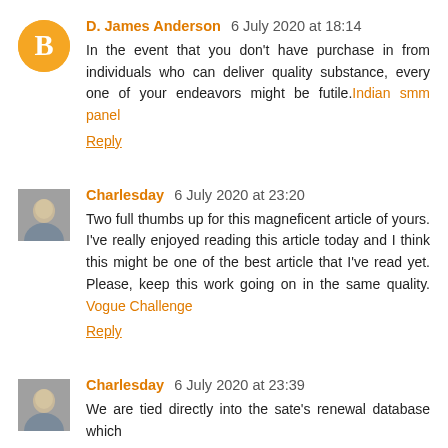D. James Anderson 6 July 2020 at 18:14
In the event that you don't have purchase in from individuals who can deliver quality substance, every one of your endeavors might be futile. Indian smm panel
Reply
Charlesday 6 July 2020 at 23:20
Two full thumbs up for this magneficent article of yours. I've really enjoyed reading this article today and I think this might be one of the best article that I've read yet. Please, keep this work going on in the same quality. Vogue Challenge
Reply
Charlesday 6 July 2020 at 23:39
We are tied directly into the sate's renewal database which